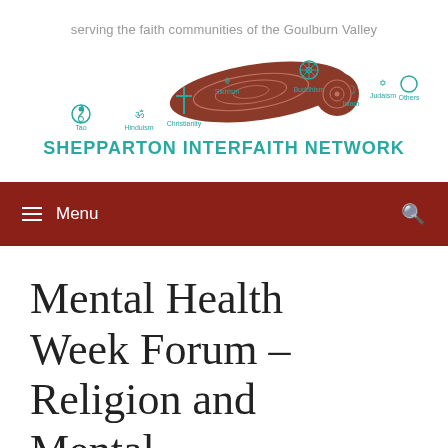serving the faith communities of the Goulburn Valley
[Figure (logo): Shepparton Interfaith Network logo with religious symbols (Tao, Hinduism, Christianity, Sikhism, Buddhism, Islam, Judaism, Others) surrounding a red/brown boomerang shape, with teal text 'SHEPPARTON INTERFAITH NETWORK']
≡ Menu
Mental Health Week Forum – Religion and Mental...